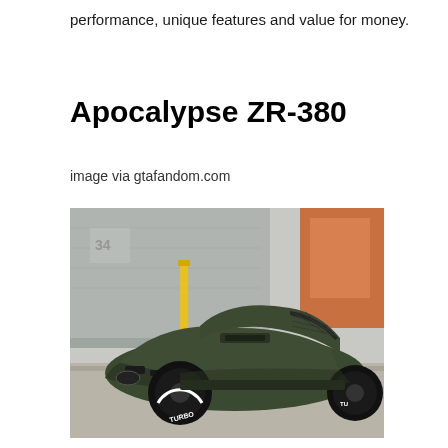performance, unique features and value for money.
Apocalypse ZR-380
image via gtafandom.com
[Figure (photo): A dark olive/army green sports car (Apocalypse ZR-380) with large black wheels labeled TURBO, wide body kit, hood vents, and cage-style rear window, parked in front of an industrial building background.]